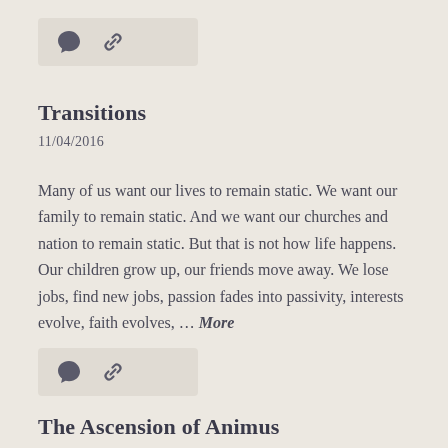[Figure (other): Icon bar with comment bubble and link icons on a light beige background]
Transitions
11/04/2016
Many of us want our lives to remain static. We want our family to remain static. And we want our churches and nation to remain static. But that is not how life happens. Our children grow up, our friends move away. We lose jobs, find new jobs, passion fades into passivity, interests evolve, faith evolves, … More
[Figure (other): Icon bar with comment bubble and link icons on a light beige background]
The Ascension of Animus